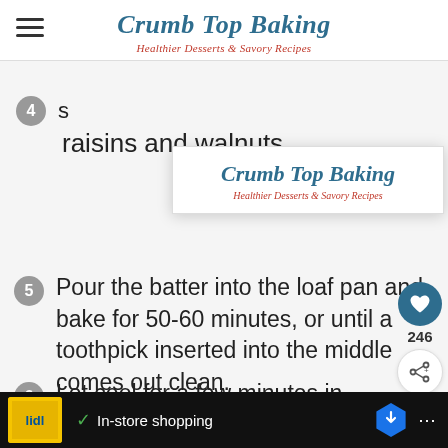Crumb Top Baking — Healthier Desserts & Savory Recipes
[Figure (logo): Crumb Top Baking popup logo with subtitle 'Healthier Desserts & Savory Recipes']
4 s... raisins and walnuts.
5 Pour the batter into the loaf pan and bake for 50-60 minutes, or until a toothpick inserted into the middle comes out clean.
6 Let cool for a few minutes in
WHAT'S NEXT → Dairy-Free Corn Chowd...
In-store shopping